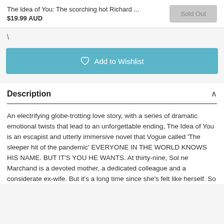The Idea of You: The scorching hot Richard ... $19.99 AUD
Sold Out
\
Add to Wishlist
Description
An electrifying globe-trotting love story, with a series of dramatic emotional twists that lead to an unforgettable ending, The Idea of You is an escapist and utterly immersive novel that Vogue called 'The sleeper hit of the pandemic' EVERYONE IN THE WORLD KNOWS HIS NAME. BUT IT'S YOU HE WANTS. At thirty-nine, Sol ne Marchand is a devoted mother, a dedicated colleague and a considerate ex-wife. But it's a long time since she's felt like herself. So